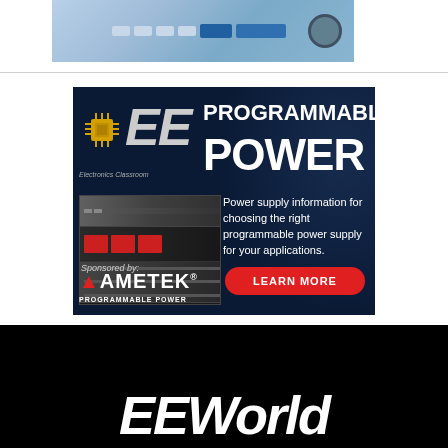[Figure (photo): Partial view of electronic test equipment panel with light blue/grey color scheme, showing control buttons and connectors]
[Figure (illustration): Advertisement banner for EE Programmable Power by Ametek. Dark blue background with large EE PROGRAMMABLE POWER text, rack-mount power supply units on left, circuit board imagery on right. Text reads: Power supply information for choosing the right programmable power supply for your applications. Sponsored by: AMETEK PROGRAMMABLE POWER. Red LEARN MORE button.]
[Figure (logo): EEworld logo in white italic bold text on black background]